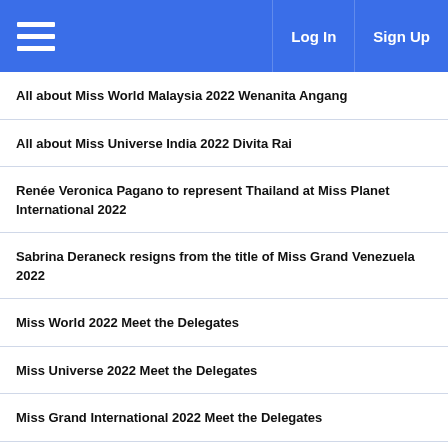Log In  Sign Up
All about Miss World Malaysia 2022 Wenanita Angang
All about Miss Universe India 2022 Divita Rai
Renée Veronica Pagano to represent Thailand at Miss Planet International 2022
Sabrina Deraneck resigns from the title of Miss Grand Venezuela 2022
Miss World 2022 Meet the Delegates
Miss Universe 2022 Meet the Delegates
Miss Grand International 2022 Meet the Delegates
Philippines' Zea Awatin gets her send-off to Miss Progress International 2022
Former Miss Universe Sushmita Sen to play the lead role in the upcoming biopic
All about Miss Earth Paraguay 2022 Macarena Tomas